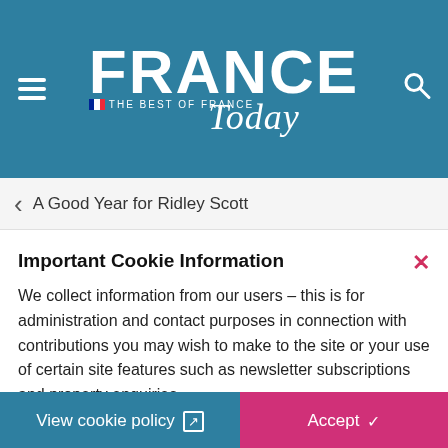[Figure (logo): France Today magazine logo on teal/blue background with hamburger menu icon on left and search icon on right. Large bold white FRANCE text with 'THE BEST OF FRANCE' subtitle and italic cursive 'Today' below.]
A Good Year for Ridley Scott
Important Cookie Information
We collect information from our users – this is for administration and contact purposes in connection with contributions you may wish to make to the site or your use of certain site features such as newsletter subscriptions and property enquiries.
View cookie policy
Accept